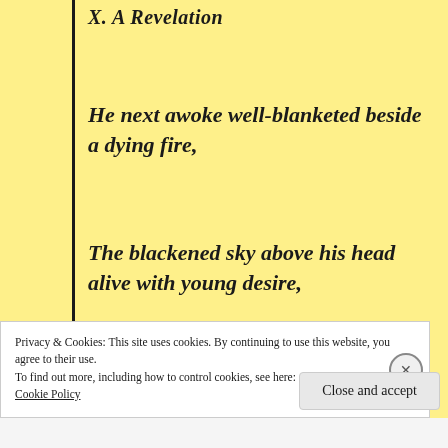X. A Revelation
He next awoke well-blanketed beside a dying fire,
The blackened sky above his head alive with young desire,
And, by and by, the atmosphere grew grey with dawning light,
Privacy & Cookies: This site uses cookies. By continuing to use this website, you agree to their use.
To find out more, including how to control cookies, see here:
Cookie Policy
Close and accept